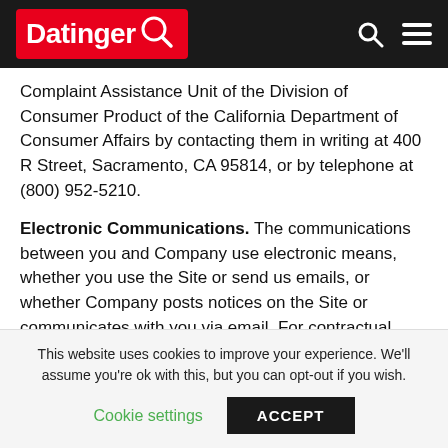Datinger [logo]
Complaint Assistance Unit of the Division of Consumer Product of the California Department of Consumer Affairs by contacting them in writing at 400 R Street, Sacramento, CA 95814, or by telephone at (800) 952-5210.
Electronic Communications. The communications between you and Company use electronic means, whether you use the Site or send us emails, or whether Company posts notices on the Site or communicates with you via email. For contractual purposes, you (a) consent to receive communications from Company in an electronic form; and
This website uses cookies to improve your experience. We'll assume you're ok with this, but you can opt-out if you wish. Cookie settings ACCEPT